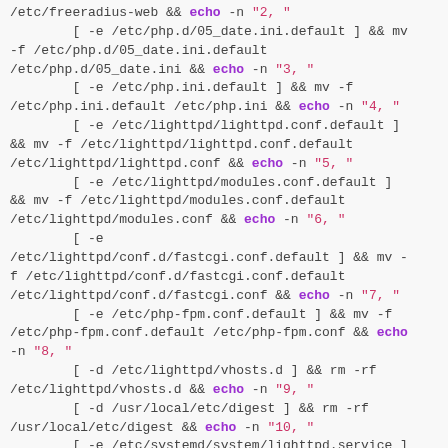[Figure (screenshot): Shell script code snippet showing a series of conditional file checks and mv/rm commands with echo statements, rendered in monospace font with keywords in purple and string literals in pink/red on a light gray background.]